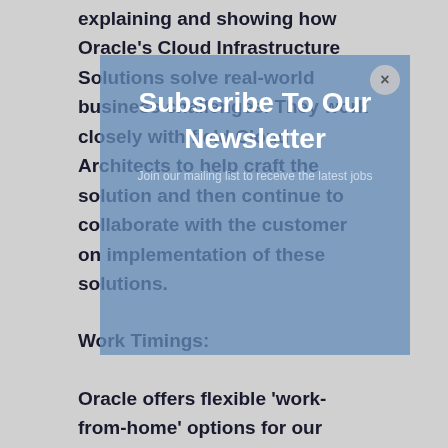explaining and showing how Oracle's Cloud Infrastructure Solutions solve real-world business challenges. They work closely with field Cloud Architects to help craft the solution and then continue to collaborate with the customer on implementation of these solutions.
Work Timings:
[Figure (infographic): Subscribe To Our Newsletter modal overlay with close button (×), title 'Subscribe To Our Newsletter', and subtitle text 'Join our mailing list to receive the latest jobs']
Oracle offers flexible 'work-from-home' options for our adjusted work shifts of 2PM-11PM IST to accommodate our North American customers and promote work/life balance for all of our diverse employees. Since this is a customer-facing role, we need to make sure